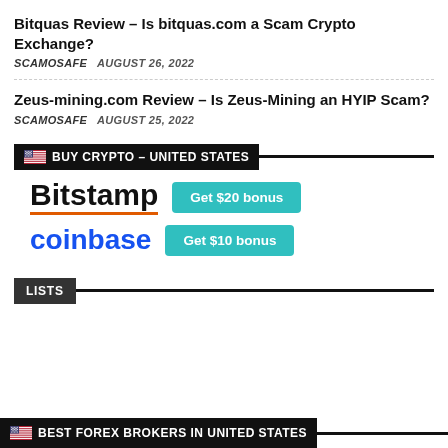Bitquas Review – Is bitquas.com a Scam Crypto Exchange?
SCAMOSAFE   AUGUST 26, 2022
Zeus-mining.com Review – Is Zeus-Mining an HYIP Scam?
SCAMOSAFE   AUGUST 25, 2022
🇺🇸 BUY CRYPTO – UNITED STATES
[Figure (logo): Bitstamp logo with Get $20 bonus button]
[Figure (logo): Coinbase logo with Get $10 bonus button]
LISTS
🇺🇸 BEST FOREX BROKERS IN UNITED STATES